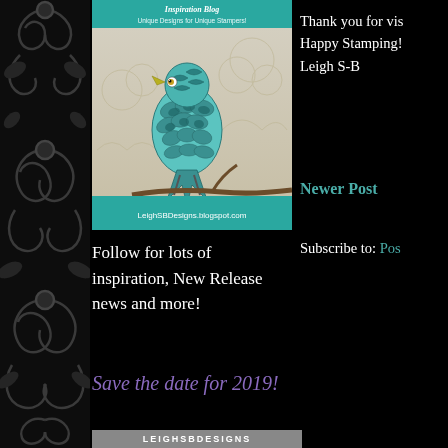[Figure (illustration): Decorative floral/scroll pattern on left sidebar, dark gray on black background]
[Figure (illustration): Inspiration Blog banner image with a detailed teal/blue bird illustration. Text reads 'Unique Designs for Unique Stampers!' and 'LeighSBDesigns.blogspot.com']
Thank you for visiting!
Happy Stamping!
Leigh S-B
Newer Post
Subscribe to: Pos
Follow for lots of inspiration, New Release news and more!
Save the date for 2019!
[Figure (logo): LeighSBDesigns logo text bar at bottom]